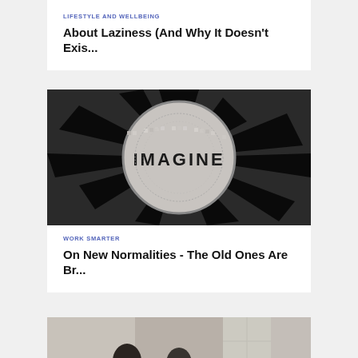LIFESTYLE AND WELLBEING
About Laziness (And Why It Doesn't Exis...
[Figure (photo): Strawberry Fields Imagine mosaic tile floor in Central Park, round black and white design with IMAGINE text in center]
WORK SMARTER
On New Normalities - The Old Ones Are Br...
[Figure (photo): Partial image of people at bottom of page, cropped]